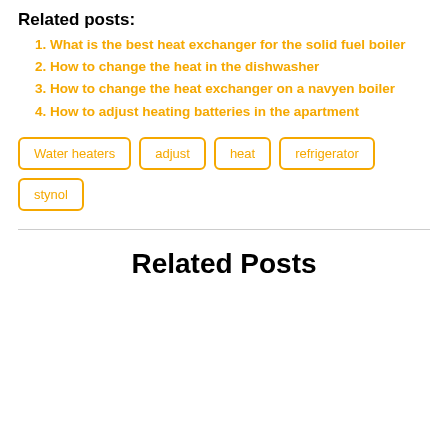Related posts:
What is the best heat exchanger for the solid fuel boiler
How to change the heat in the dishwasher
How to change the heat exchanger on a navyen boiler
How to adjust heating batteries in the apartment
Water heaters   adjust   heat   refrigerator   stynol
Related Posts